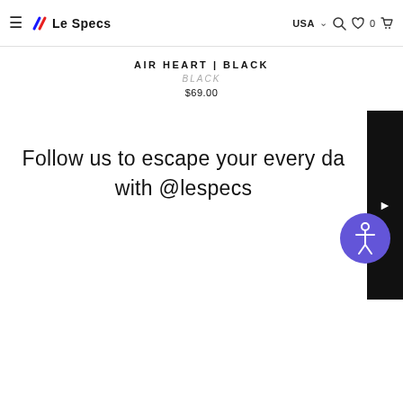Le Specs — USA — navigation bar with hamburger menu, search, wishlist, cart icons
AIR HEART | BLACK
BLACK
$69.00
Follow us to escape your every da with @lespecs
[Figure (other): Accessibility icon button (person in circle) in purple/blue color]